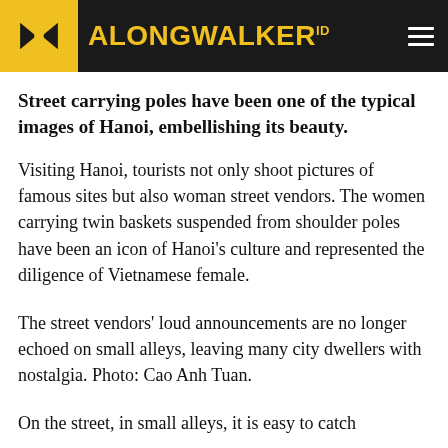ALONGWALKER ID
Street carrying poles have been one of the typical images of Hanoi, embellishing its beauty.
Visiting Hanoi, tourists not only shoot pictures of famous sites but also woman street vendors. The women carrying twin baskets suspended from shoulder poles have been an icon of Hanoi's culture and represented the diligence of Vietnamese female.
The street vendors' loud announcements are no longer echoed on small alleys, leaving many city dwellers with nostalgia. Photo: Cao Anh Tuan.
On the street, in small alleys, it is easy to catch